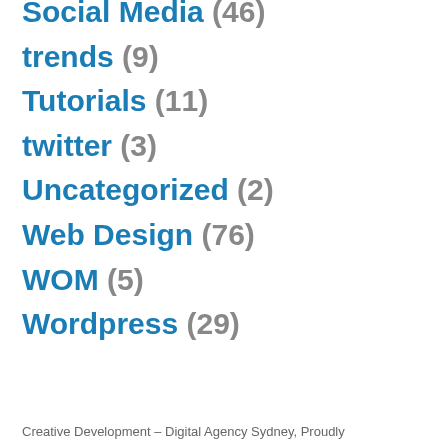Social Media (46)
trends (9)
Tutorials (11)
twitter (3)
Uncategorized (2)
Web Design (76)
WOM (5)
Wordpress (29)
Creative Development – Digital Agency Sydney, Proudly